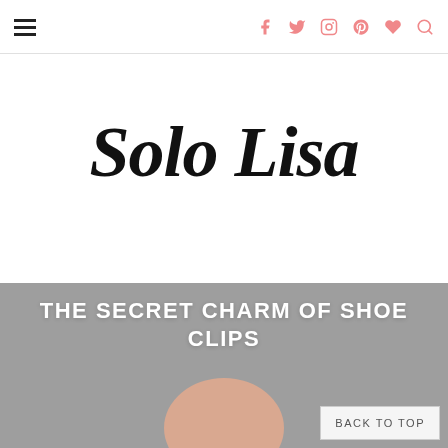[hamburger menu] [facebook] [twitter] [instagram] [pinterest] [heart] [search]
Solo Lisa
[Figure (photo): Gray background blog article thumbnail photo showing a partial view of a foot/shoe area with peach skin tone at the bottom. Article title 'THE SECRET CHARM OF SHOE CLIPS' overlaid in white bold uppercase text. A 'BACK TO TOP' button appears in the lower right corner.]
THE SECRET CHARM OF SHOE CLIPS